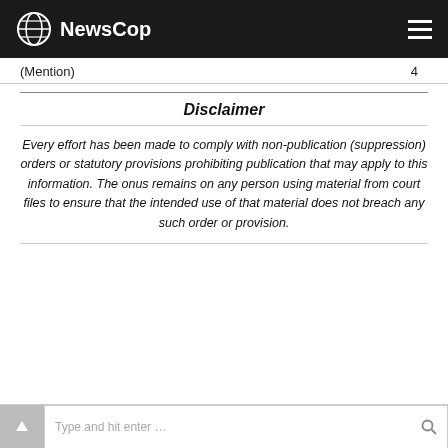NewsCop
(Mention)	4
Disclaimer
Every effort has been made to comply with non-publication (suppression) orders or statutory provisions prohibiting publication that may apply to this information. The onus remains on any person using material from court files to ensure that the intended use of that material does not breach any such order or provision.
Type and hit enter ...